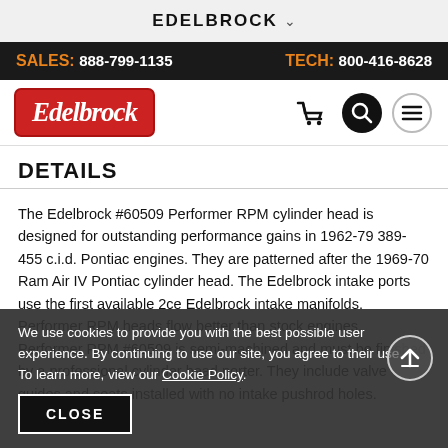EDELBROCK
SALES: 888-799-1135   TECH: 800-416-8628
[Figure (logo): Edelbrock logo — red rounded rectangle with white italic script text 'Edelbrock']
DETAILS
The Edelbrock #60509 Performer RPM cylinder head is designed for outstanding performance gains in 1962-79 389-455 c.i.d. Pontiac engines. They are patterned after the 1969-70 Ram Air IV Pontiac cylinder head. The Edelbrock intake ports use the first available 2ce Edelbrock intake manifolds. Performer RPM heads flow better than stock engines. Performer RPM #60509 is semi-machined and must be finished by a professional cylinder head porter. They include valve guides and seats installed with no intake pushrod holes.
We use cookies to provide you with the best possible user experience. By continuing to use our site, you agree to their use. To learn more, view our Cookie Policy.